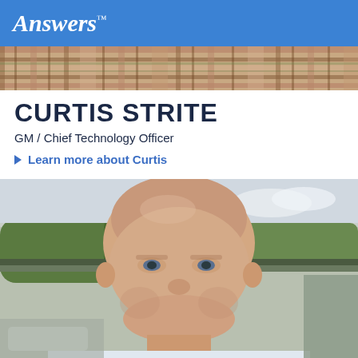Answers™
[Figure (photo): Plaid/tartan fabric pattern banner strip]
CURTIS STRITE
GM / Chief Technology Officer
Learn more about Curtis
[Figure (photo): Headshot photo of Curtis Strite, a bald middle-aged man smiling outdoors in front of a building with trees in background]